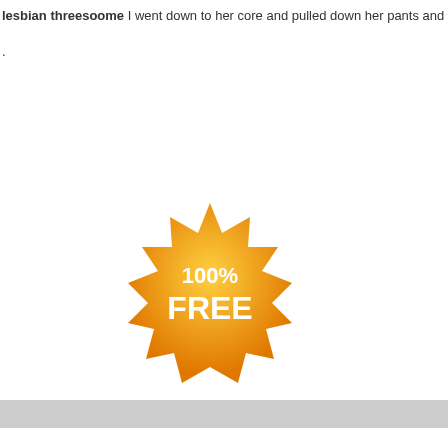lesbian threesoome I went down to her core and pulled down her pants and undies
.
[Figure (illustration): Orange starburst badge with '100% FREE' text in white]
[Figure (other): Gray horizontal progress/loading bar]
Sign up in
Email Addre
Date of Birth
January
You are a
Man   W
Country
United State
Join No